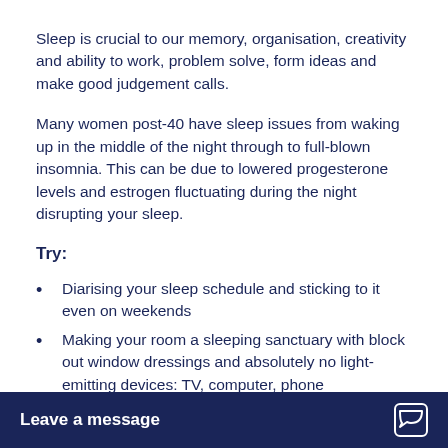Sleep is crucial to our memory, organisation, creativity and ability to work, problem solve, form ideas and make good judgement calls.
Many women post-40 have sleep issues from waking up in the middle of the night through to full-blown insomnia. This can be due to lowered progesterone levels and estrogen fluctuating during the night disrupting your sleep.
Try:
Diarising your sleep schedule and sticking to it even on weekends
Making your room a sleeping sanctuary with block out window dressings and absolutely no light-emitting devices: TV, computer, phone
No eating three [hours before bed]
Learning to me[ditate]
Leave a message